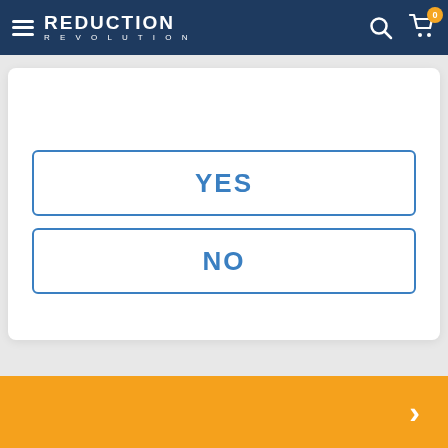[Figure (screenshot): Navigation bar with hamburger menu, Reduction Revolution logo, search icon, and cart icon with badge showing 0]
YES
NO
[Figure (other): Orange banner with right arrow chevron]